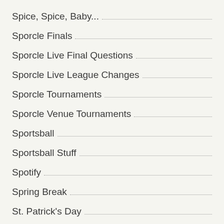Spice, Spice, Baby...
Sporcle Finals
Sporcle Live Final Questions
Sporcle Live League Changes
Sporcle Tournaments
Sporcle Venue Tournaments
Sportsball
Sportsball Stuff
Spotify
Spring Break
St. Patrick's Day